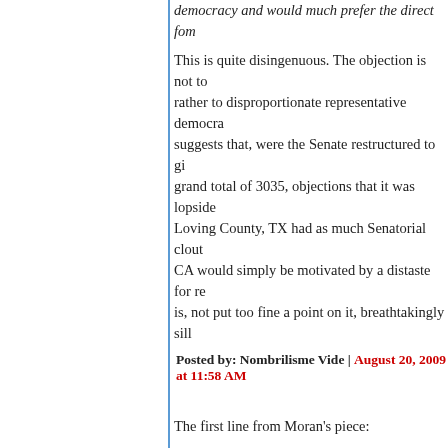democracy and would much prefer the direct form...
This is quite disingenuous. The objection is not to... rather to disproportionate representative democra... suggests that, were the Senate restructured to gi... grand total of 3035, objections that it was lopside... Loving County, TX had as much Senatorial clout a... CA would simply be motivated by a distaste for re... is, not put too fine a point on it, breathtakingly sill...
Posted by: Nombrilisme Vide | August 20, 2009 at 11:58 AM
The first line from Moran’s piece:
The pretense of bi-partisanship is being dropped...
The Republican contribution to the debate has be... theme of "f**k you".
It takes a special brand of arrogance to describe f... "dropping the pretense of bi-partisanship".
Posted by: russell | August 20, 2009 at 11:58 AM
'What progressives don't like about the Senate is...